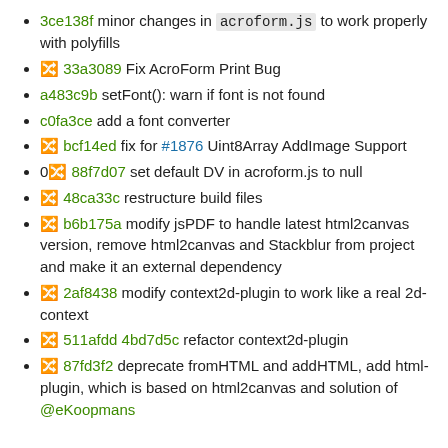3ce138f minor changes in acroform.js to work properly with polyfills
🔀 33a3089 Fix AcroForm Print Bug
a483c9b setFont(): warn if font is not found
c0fa3ce add a font converter
🔀 bcf14ed fix for #1876 Uint8Array AddImage Support
0🔀 88f7d07 set default DV in acroform.js to null
🔀 48ca33c restructure build files
🔀 b6b175a modify jsPDF to handle latest html2canvas version, remove html2canvas and Stackblur from project and make it an external dependency
🔀 2af8438 modify context2d-plugin to work like a real 2d-context
🔀 511afdd 4bd7d5c refactor context2d-plugin
🔀 87fd3f2 deprecate fromHTML and addHTML, add html-plugin, which is based on html2canvas and solution of @eKoopmans